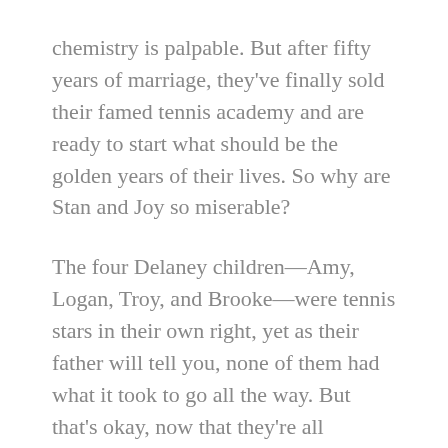chemistry is palpable. But after fifty years of marriage, they've finally sold their famed tennis academy and are ready to start what should be the golden years of their lives. So why are Stan and Joy so miserable?
The four Delaney children—Amy, Logan, Troy, and Brooke—were tennis stars in their own right, yet as their father will tell you, none of them had what it took to go all the way. But that's okay, now that they're all successful grown-ups and there is the wonderful possibility of grandchildren on the horizon.
One night a stranger named Savannah knocks on Stan and Joy's door, bleeding after a fight with her boyfriend. The